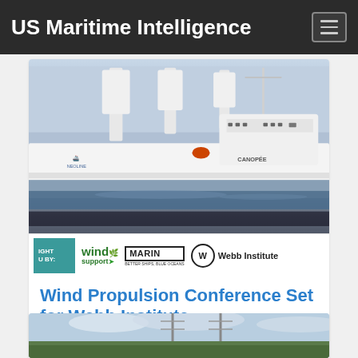US Maritime Intelligence
[Figure (photo): Large white cargo/ro-ro ship with wind propulsion sails/rotors on deck, seen from port side on calm water. Below the ship photo is a sponsor bar with logos: wind support, MARIN, Webb Institute.]
Wind Propulsion Conference Set for Webb Institute
What: Natural Propulsion in Ship DesignWhen: November 16,
[Figure (photo): Partially visible aerial/ground photo showing tall towers or masts against a cloudy sky with trees and buildings in background.]